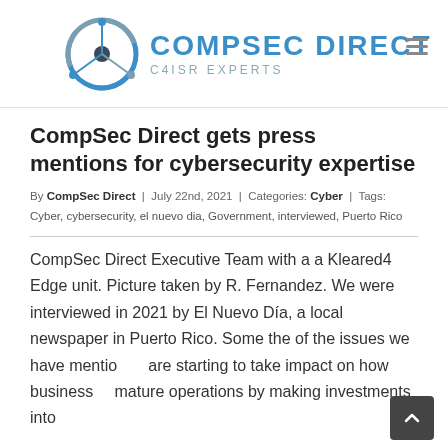CompSec Direct — C4ISR Experts
CompSec Direct gets press mentions for cybersecurity expertise
By CompSec Direct | July 22nd, 2021 | Categories: Cyber | Tags: Cyber, cybersecurity, el nuevo dia, Government, interviewed, Puerto Rico
CompSec Direct Executive Team with a a Kleared4 Edge unit. Picture taken by R. Fernandez. We were interviewed in 2021 by El Nuevo Día, a local newspaper in Puerto Rico. Some the of the issues we have mentioned are starting to take impact on how businesses mature operations by making investments into